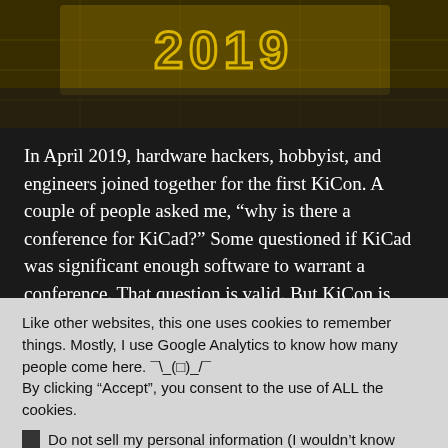[Figure (photo): Top banner area showing KiCon 2019 logo/text over a dark circuit board background image, partially cropped at top]
In April 2019, hardware hackers, hobbyist, and engineers joined together for the first KiCon. A couple of people asked me, “why is there a conference for KiCad?” Some questioned if KiCad was significant enough software to warrant a conference. That question is valid. But KiCon is larger than the KiCad software.
Like other websites, this one uses cookies to remember things. Mostly, I use Google Analytics to know how many people come here. ¯\_(o)_/¯
By clicking “Accept”, you consent to the use of ALL the cookies.
Do not sell my personal information (I wouldn’t know how anyway).
Cookie Settings   Accept